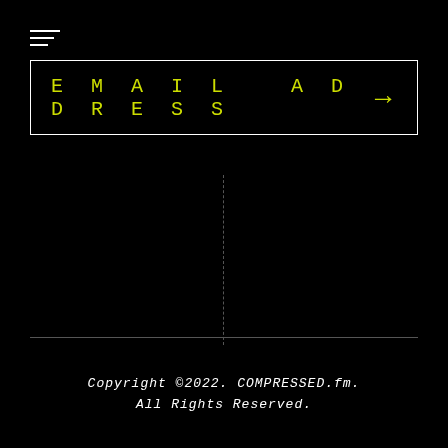[Figure (other): Hamburger menu icon with three horizontal lines of decreasing width]
EMAIL ADDRESS →
[Figure (other): Vertical dashed cursor line in the center of the page]
Copyright ©2022. COMPRESSED.fm. All Rights Reserved.